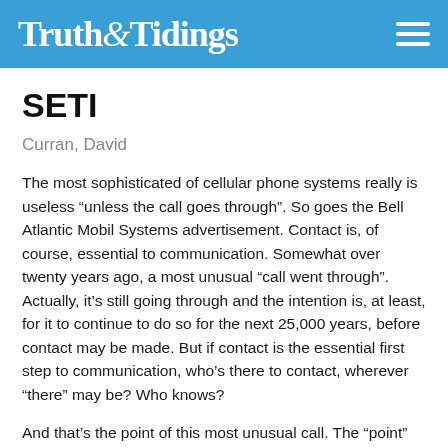Truth&Tidings
SETI
Curran, David
The most sophisticated of cellular phone systems really is useless “unless the call goes through”. So goes the Bell Atlantic Mobil Systems advertisement. Contact is, of course, essential to communication. Somewhat over twenty years ago, a most unusual “call went through”. Actually, it’s still going through and the intention is, at least, for it to continue to do so for the next 25,000 years, before contact may be made. But if contact is the essential first step to communication, who’s there to contact, wherever “there” may be? Who knows?
And that’s the point of this most unusual call. The “point” is, in fact, known as SETI or Search for Extraterrestrial Intelligence. Beamed from the massive deep space radio telescopes in Arecibo, Puerto Rico, to unknown locations far